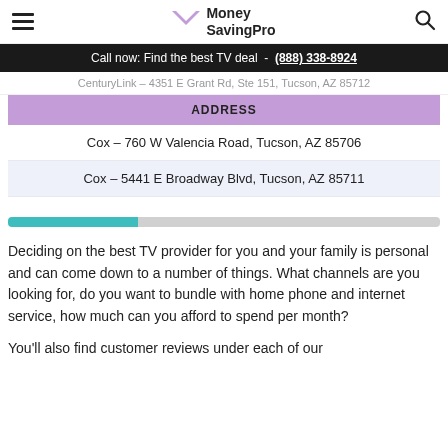Money SavingPro
Call now: Find the best TV deal - (888) 338-8924
CenturyLink - 4351 E Grant Rd, Ste 151, Tucson, AZ 85712
| ADDRESS |
| --- |
| Cox - 760 W Valencia Road, Tucson, AZ 85706 |
| Cox - 5441 E Broadway Blvd, Tucson, AZ 85711 |
[Figure (infographic): Horizontal progress bar, approximately 30% filled in teal/cyan, remainder in light gray]
Deciding on the best TV provider for you and your family is personal and can come down to a number of things. What channels are you looking for, do you want to bundle with home phone and internet service, how much can you afford to spend per month?
You'll also find customer reviews under each of our